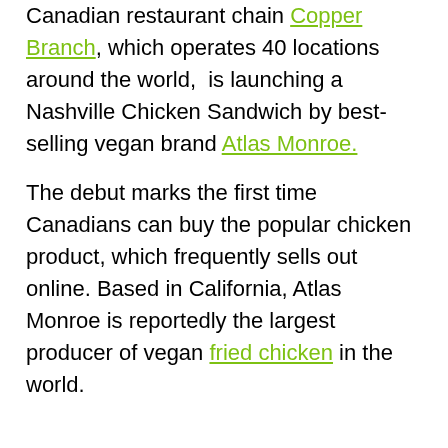Canadian restaurant chain Copper Branch, which operates 40 locations around the world,  is launching a Nashville Chicken Sandwich by best-selling vegan brand Atlas Monroe.
The debut marks the first time Canadians can buy the popular chicken product, which frequently sells out online. Based in California, Atlas Monroe is reportedly the largest producer of vegan fried chicken in the world.